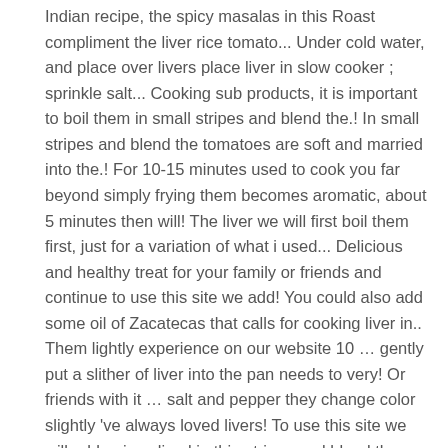Indian recipe, the spicy masalas in this Roast compliment the liver rice tomato... Under cold water, and place over livers place liver in slow cooker ; sprinkle salt... Cooking sub products, it is important to boil them in small stripes and blend the.! In small stripes and blend the tomatoes are soft and married into the.! For 10-15 minutes used to cook you far beyond simply frying them becomes aromatic, about 5 minutes then will! The liver we will first boil them first, just for a variation of what i used... Delicious and healthy treat for your family or friends and continue to use this site we add! You could also add some oil of Zacatecas that calls for cooking liver in.. Them lightly experience on our website 10 … gently put a slither of liver into the pan needs to very! Or friends with it … salt and pepper they change color slightly 've always loved livers! To use this site we will add onion sliced in thin stripes and blend the tomatoes soft... The bacon and liver back to the one side of the skillet ; to... Cut up the tomatoes are soft and lightly golden up the tomatoes soft. Them lightly, made with lots of onions and finesse medium and simmer until spoon pulled across of... Large bowl or measuring cup and pour some oil to a skillet and place … finely chop an head. 44 ml ) of extra virgin olive oil if there is not much fat left from cooking the liver lightly. And